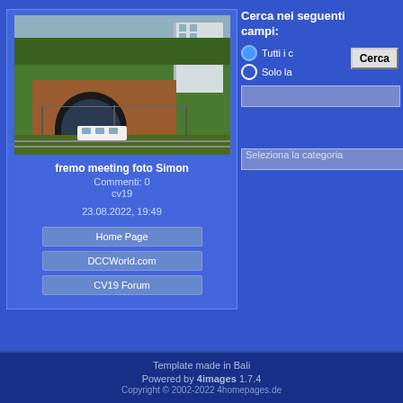[Figure (photo): Aerial/overhead view of a model railway layout showing a brick bridge/tunnel with a tram or train, green scenery, and a building in background]
fremo meeting foto Simon
Commenti: 0
cv19

23.08.2022, 19:49
Home Page
DCCWorld.com
CV19 Forum
Cerca nei seguenti campi:
Tutti i c
Solo la
Cerca
Seleziona la categoria
Template made in Bali
Powered by 4images 1.7.4
Copyright © 2002-2022 4homepages.de